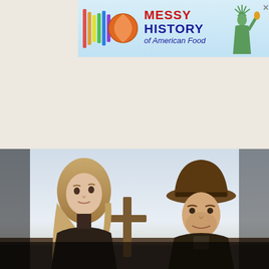[Figure (advertisement): Advertisement banner for 'Messy History of American Food' with colorful logo stripes and globe icon on left, red and blue bold text in center, Statue of Liberty on right, light blue background. Close button X in top right corner.]
[Figure (photo): Movie still showing a young blonde girl on the left and an older man wearing a wide-brimmed hat on the right, with a wooden cross structure in the middle background. Sky is pale blue/white. Scene appears to be from a Western film.]